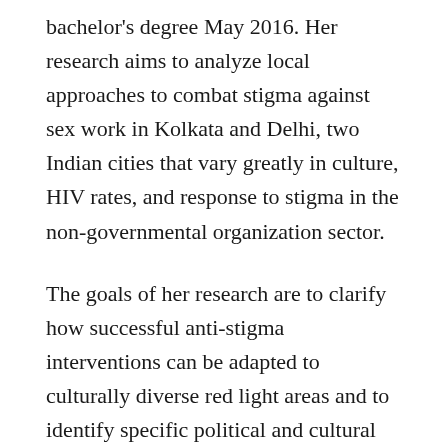bachelor's degree May 2016. Her research aims to analyze local approaches to combat stigma against sex work in Kolkata and Delhi, two Indian cities that vary greatly in culture, HIV rates, and response to stigma in the non-governmental organization sector.
The goals of her research are to clarify how successful anti-stigma interventions can be adapted to culturally diverse red light areas and to identify specific political and cultural factors impacting anti-stigma efforts. Martha plans to engage with the local community in both cities is two-fold, to reflect the segregated cultures of red light areas and greater society.
In sex work communities, she will volunteer with